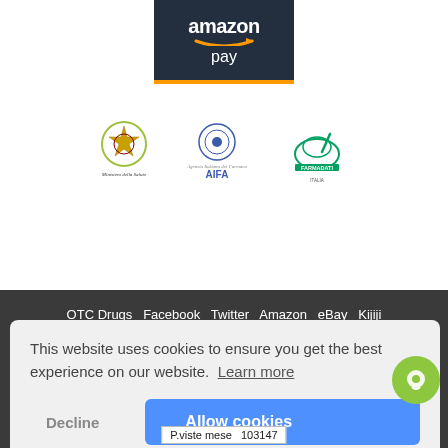[Figure (logo): Amazon Pay logo with dark background and orange bottom border]
[Figure (logo): Three logos: Ministero della Salute (Italian health ministry), AIFA (Agenzia Italiana del Farmaco), and Farmadati Italia]
OTC Drugs  Facebook  Twitter  Amazon  eBay  Kijiji  ePRICE  PromoFarma  Trovaprezzi  1000Farmacie.it  Shopmania  Cliccaprezzi  Tuugo  Trovaofferte.net
This website uses cookies to ensure you get the best experience on our website.  Learn more
Decline
Allow cookies
P.viste mese  103147